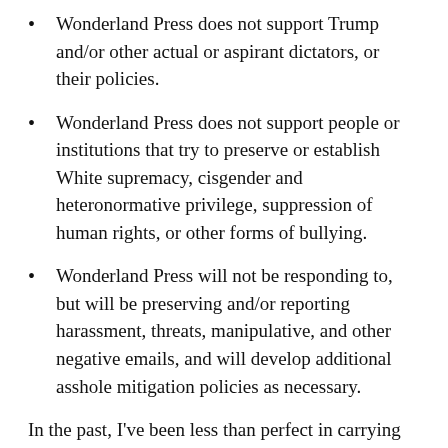Wonderland Press does not support Trump and/or other actual or aspirant dictators, or their policies.
Wonderland Press does not support people or institutions that try to preserve or establish White supremacy, cisgender and heteronormative privilege, suppression of human rights, or other forms of bullying.
Wonderland Press will not be responding to, but will be preserving and/or reporting harassment, threats, manipulative, and other negative emails, and will develop additional asshole mitigation policies as necessary.
In the past, I’ve been less than perfect in carrying out the actions implied by those policies. Thank you for your patience and for bearing with me if I’ve f—